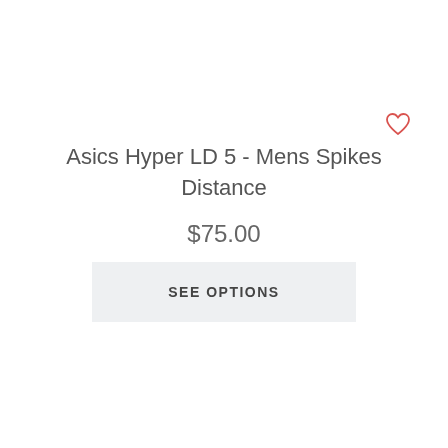[Figure (illustration): Red outline heart/wishlist icon in top right area]
Asics Hyper LD 5 - Mens Spikes Distance
$75.00
SEE OPTIONS